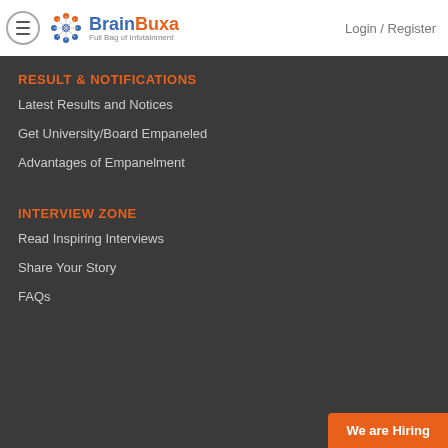BrainBuxa Full Bag of Infotainment | Login / Register
RESULT & NOTIFICATIONS
Latest Results and Notices
Get University/Board Empaneled
Advantages of Empanelment
INTERVIEW ZONE
Read Inspiring Interviews
Share Your Story
FAQs
We are Hiring